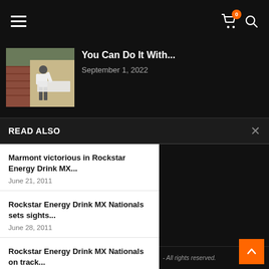Navigation bar with hamburger menu, cart icon (0), and search icon
[Figure (photo): Person carrying a large white panel/sheet outdoors near a brick wall and fence]
You Can Do It With...
September 1, 2022
READ ALSO
Marmont victorious in Rockstar Energy Drink MX...
June 21, 2011
Rockstar Energy Drink MX Nationals sets sights...
June 28, 2011
Rockstar Energy Drink MX Nationals on track...
June 10, 2011
- All rights reserved.